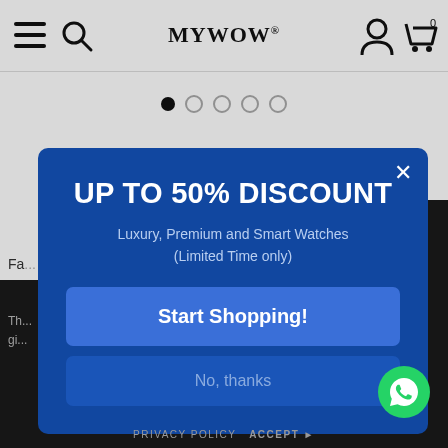MYWOW® — navigation bar with hamburger menu, search, account and cart icons
[Figure (screenshot): Carousel pagination dots — one filled black, four empty outline circles]
[Figure (infographic): Modal popup on blue background: UP TO 50% DISCOUNT — Luxury, Premium and Smart Watches (Limited Time only) — Start Shopping! button — No, thanks button — X close button]
UP TO 50% DISCOUNT
Luxury, Premium and Smart Watches (Limited Time only)
Start Shopping!
No, thanks
PRIVACY POLICY  ACCEPT